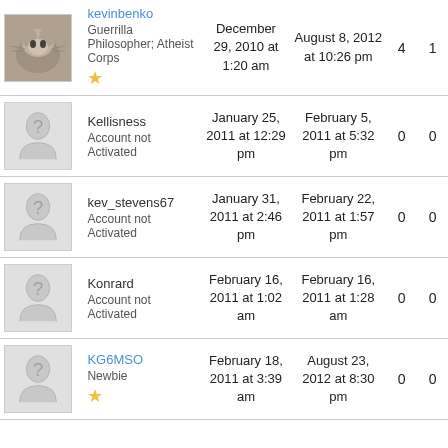| Avatar | Name/Role | Joined | Last Active | Col1 | Col2 |
| --- | --- | --- | --- | --- | --- |
| [cat photo] | kevinbenko
Guerrilla Philosopher; Atheist Corps ★ | December 29, 2010 at 1:20 am | August 8, 2012 at 10:26 pm | 4 | 1 |
| [placeholder] | Kellisness
Account not Activated | January 25, 2011 at 12:29 pm | February 5, 2011 at 5:32 pm | 0 | 0 |
| [placeholder] | kev_stevens67
Account not Activated | January 31, 2011 at 2:46 pm | February 22, 2011 at 1:57 pm | 0 | 0 |
| [placeholder] | Konrard
Account not Activated | February 16, 2011 at 1:02 am | February 16, 2011 at 1:28 am | 0 | 0 |
| [placeholder] | KG6MSO
Newbie ★ | February 18, 2011 at 3:39 am | August 23, 2012 at 8:30 pm | 0 | 0 |